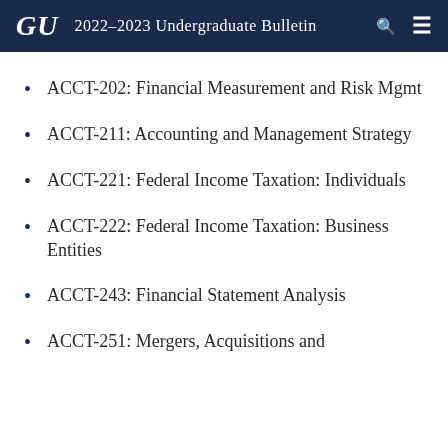GU 2022-2023 Undergraduate Bulletin
ACCT-202: Financial Measurement and Risk Mgmt
ACCT-211: Accounting and Management Strategy
ACCT-221: Federal Income Taxation: Individuals
ACCT-222: Federal Income Taxation: Business Entities
ACCT-243: Financial Statement Analysis
ACCT-251: Mergers, Acquisitions and